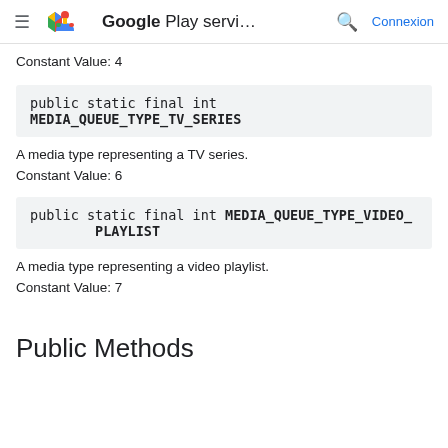Google Play servi... Connexion
Constant Value: 4
public static final int MEDIA_QUEUE_TYPE_TV_SERIES
A media type representing a TV series.
Constant Value: 6
public static final int MEDIA_QUEUE_TYPE_VIDEO_PLAYLIST
A media type representing a video playlist.
Constant Value: 7
Public Methods